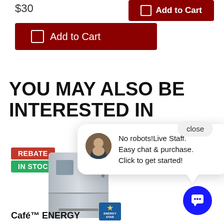$30
Add to Cart
YOU MAY ALSO BE INTERESTED IN
[Figure (screenshot): A stainless steel French door refrigerator with REBATE and IN STOCK badges, and an Energy Star logo]
[Figure (screenshot): Live chat popup with staff avatar showing text: No robots! Live Staff. Easy chat & purchase. Click to get started!]
close
No robots!Live Staff. Easy chat & purchase. Click to get started!
[Figure (other): Blue circular chat button with speech bubble icon]
Café™ ENERGY